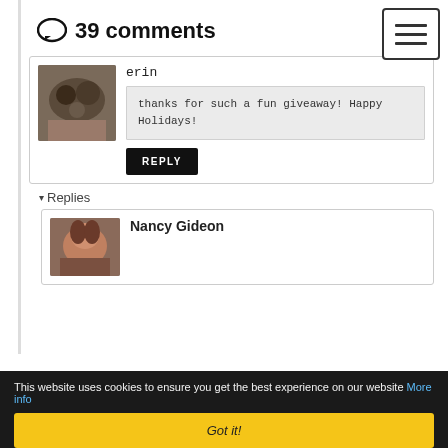[Figure (other): Hamburger menu button icon in top-right corner]
39 comments
[Figure (photo): User avatar photo showing animals (dogs/puppies)]
erin
thanks for such a fun giveaway! Happy Holidays!
REPLY
▾ Replies
[Figure (photo): Nancy Gideon avatar photo showing a woman]
Nancy Gideon
This website uses cookies to ensure you get the best experience on our website More info
Got it!